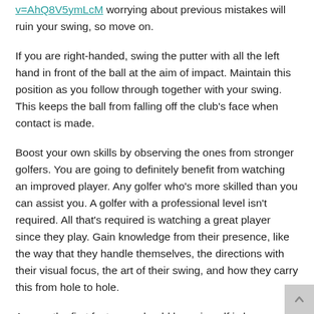v=AhQ8V5ymLcM worrying about previous mistakes will ruin your swing, so move on.
If you are right-handed, swing the putter with all the left hand in front of the ball at the aim of impact. Maintain this position as you follow through together with your swing. This keeps the ball from falling off the club's face when contact is made.
Boost your own skills by observing the ones from stronger golfers. You are going to definitely benefit from watching an improved player. Any golfer who's more skilled than you can assist you. A golfer with a professional level isn't required. All that's required is watching a great player since they play. Gain knowledge from their presence, like the way that they handle themselves, the directions with their visual focus, the art of their swing, and how they carry this from hole to hole.
Among the first facts you should learn in golf is how scores are kept. The necessity of this is your score is regularly utilized to determine what you can do like a player. Count any time you hit the ball, think of it a stroke, and add the days it takes to have it in the hole! The less